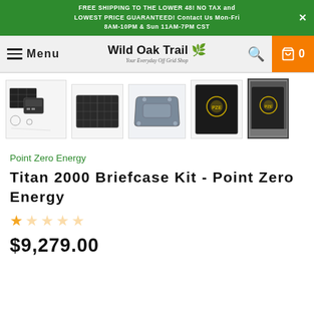FREE SHIPPING TO THE LOWER 48! NO TAX and LOWEST PRICE GUARANTEED! Contact Us Mon-Fri 8AM-10PM & Sun 11AM-7PM CST
[Figure (screenshot): Wild Oak Trail navigation bar with menu, brand logo, search icon, and shopping cart button showing 0 items]
[Figure (photo): Row of 5 product thumbnail images for Titan 2000 Briefcase Kit showing solar panels, mounting hardware, and carrying case]
Point Zero Energy
Titan 2000 Briefcase Kit - Point Zero Energy
☆☆☆☆☆
$9,279.00